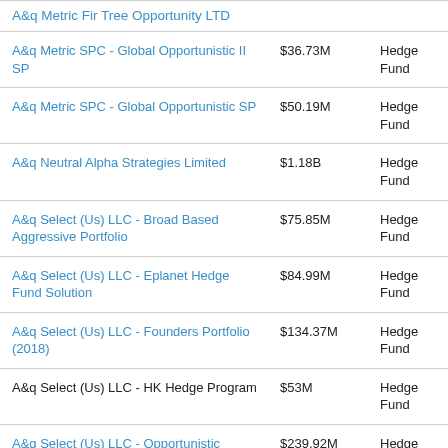| Fund Name | AUM | Type |
| --- | --- | --- |
| A&q Metric Fir Tree Opportunity LTD |  |  |
| A&q Metric SPC - Global Opportunistic II SP | $36.73M | Hedge Fund |
| A&q Metric SPC - Global Opportunistic SP | $50.19M | Hedge Fund |
| A&q Neutral Alpha Strategies Limited | $1.18B | Hedge Fund |
| A&q Select (Us) LLC - Broad Based Aggressive Portfolio | $75.85M | Hedge Fund |
| A&q Select (Us) LLC - Eplanet Hedge Fund Solution | $84.99M | Hedge Fund |
| A&q Select (Us) LLC - Founders Portfolio (2018) | $134.37M | Hedge Fund |
| A&q Select (Us) LLC - HK Hedge Program | $53M | Hedge Fund |
| A&q Select (Us) LLC - Opportunistic Credit | $239.92M | Hedge Fund |
| A&q Select (Us) LLC - Rockstar |  | Hedge Fund |